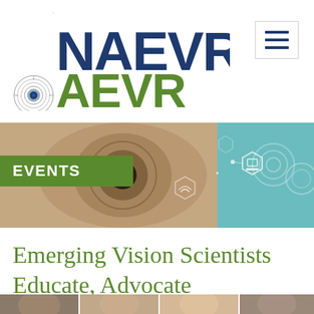[Figure (logo): NAEVR AEVR logo with eye iris graphic in dark navy and green colors]
[Figure (other): Hamburger menu icon button with three navy horizontal bars inside a square border]
[Figure (photo): Banner image showing a close-up of a human eye with technology/network icons overlaid on teal background]
EVENTS
Emerging Vision Scientists Educate, Advocate
[Figure (photo): Bottom strip showing partial faces/headshots of people]